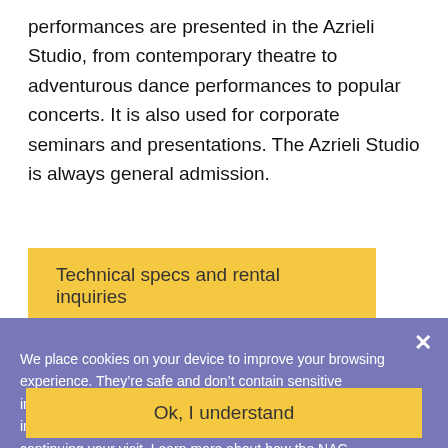performances are presented in the Azrieli Studio, from contemporary theatre to adventurous dance performances to popular concerts. It is also used for corporate seminars and presentations. The Azrieli Studio is always general admission.
Technical specs and rental inquiries
SEATING CHART
We place cookies on your device to improve your browsing experience. They’re safe and don’t contain sensitive information. If you are not comfortable with us using this information, please adjust your browser settings before continuing your visit. Learn more about how the NAC protects your privacy.
Ok, I understand
SEATING
SEATING CHART
General admission
Maximum 300